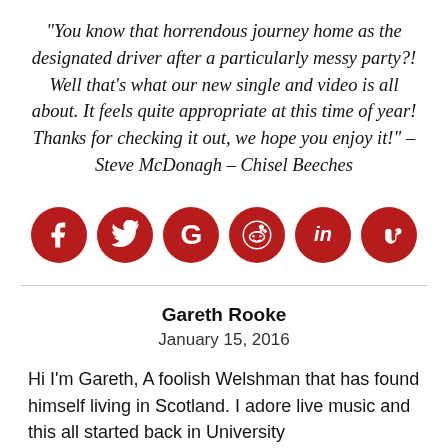“You know that horrendous journey home as the designated driver after a particularly messy party?! Well that’s what our new single and video is all about. It feels quite appropriate at this time of year! Thanks for checking it out, we hope you enjoy it!” – Steve McDonagh – Chisel Beeches
[Figure (infographic): Six dark red circular social media icons in a row: Facebook, Twitter, Google+, Reddit, LinkedIn, StumbleUpon]
Gareth Rooke
January 15, 2016
Hi I’m Gareth, A foolish Welshman that has found himself living in Scotland. I adore live music and this all started back in University